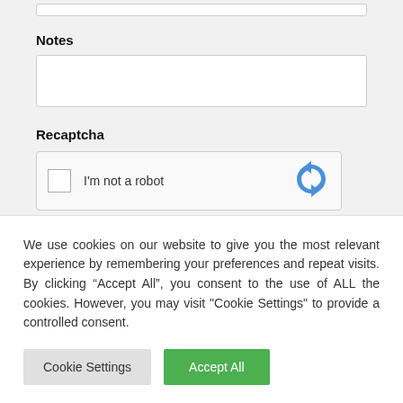[Figure (screenshot): Top input box (cropped form field)]
Notes
[Figure (screenshot): Notes textarea input box]
Recaptcha
[Figure (screenshot): reCAPTCHA widget with checkbox labeled 'I'm not a robot' and reCAPTCHA logo]
We use cookies on our website to give you the most relevant experience by remembering your preferences and repeat visits. By clicking “Accept All”, you consent to the use of ALL the cookies. However, you may visit "Cookie Settings" to provide a controlled consent.
Cookie Settings
Accept All